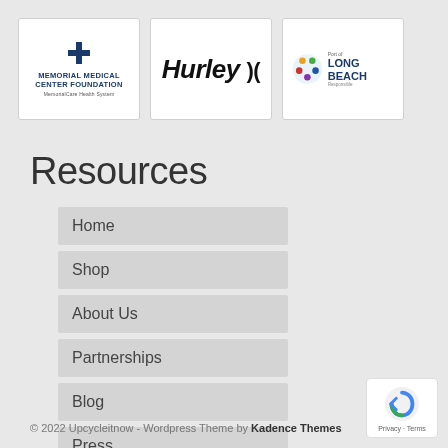[Figure (logo): Memorial Medical Center Foundation logo with blue cross icon and MemorialCare Health System text]
[Figure (logo): Hurley logo in bold italic black text with bracket symbols]
[Figure (logo): Port of Long Beach logo with colorful anchor/people icon]
Resources
Home
Shop
About Us
Partnerships
Blog
Press
Contact
© 2022 Upcycleitnow - Wordpress Theme by Kadence Themes
[Figure (logo): reCAPTCHA badge with Privacy and Terms links]